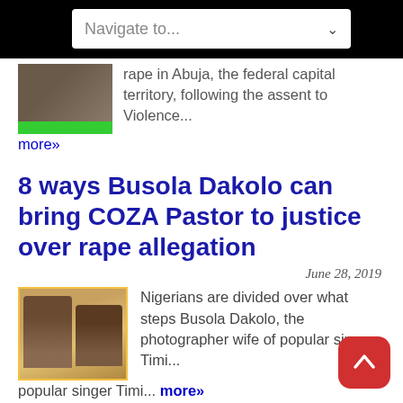Navigate to...
rape in Abuja, the federal capital territory, following the assent to Violence...
more»
8 ways Busola Dakolo can bring COZA Pastor to justice over rape allegation
June 28, 2019
Nigerians are divided over what steps Busola Dakolo, the photographer wife of popular singer Timi... more»
Here's Busola Dakolo